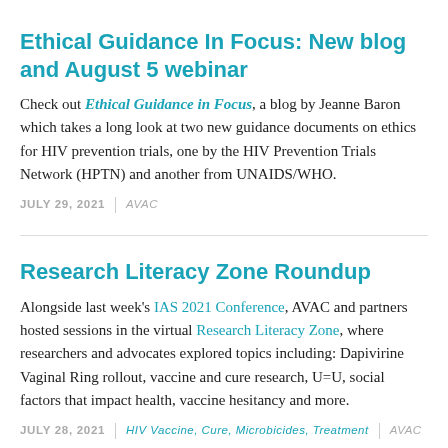Ethical Guidance In Focus: New blog and August 5 webinar
Check out Ethical Guidance in Focus, a blog by Jeanne Baron which takes a long look at two new guidance documents on ethics for HIV prevention trials, one by the HIV Prevention Trials Network (HPTN) and another from UNAIDS/WHO.
JULY 29, 2021 | AVAC
Research Literacy Zone Roundup
Alongside last week's IAS 2021 Conference, AVAC and partners hosted sessions in the virtual Research Literacy Zone, where researchers and advocates explored topics including: Dapivirine Vaginal Ring rollout, vaccine and cure research, U=U, social factors that impact health, vaccine hesitancy and more.
JULY 28, 2021 | HIV Vaccine, Cure, Microbicides, Treatment | AVAC